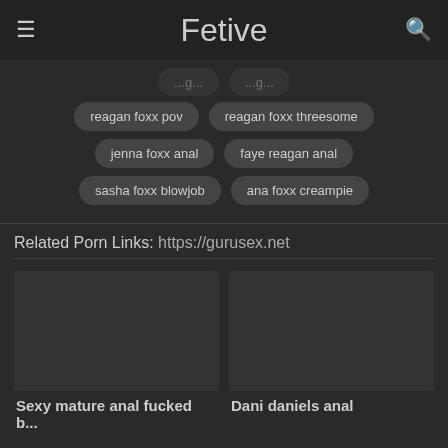Fetive
reagan foxx pov
reagan foxx threesome
jenna foxx anal
faye reagan anal
sasha foxx blowjob
ana foxx creampie
Related Porn Links: https://gurusex.net
Sexy mature anal fucked b...
Dani daniels anal